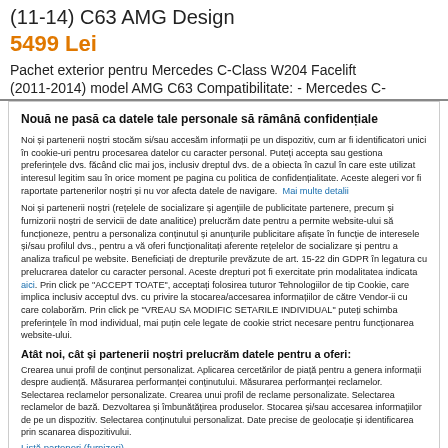(11-14) C63 AMG Design
5499 Lei
Pachet exterior pentru Mercedes C-Class W204 Facelift (2011-2014) model AMG C63 Compatibilitate: - Mercedes C-
Nouă ne pasă ca datele tale personale să rămână confidențiale
Noi și partenerii noștri stocăm si/sau accesăm informații pe un dispozitiv, cum ar fi identificatori unici în cookie-uri pentru procesarea datelor cu caracter personal. Puteți accepta sau gestiona preferințele dvs. făcând clic mai jos, inclusiv dreptul dvs. de a obiecta în cazul în care este utilizat interesul legitim sau în orice moment pe pagina cu politica de confidențialitate. Aceste alegeri vor fi raportate partenerilor noștri și nu vor afecta datele de navigare. Mai multe detalii
Noi și partenerii noștri (rețelele de socializare și agențiile de publicitate partenere, precum și furnizorii noștri de servicii de date analitice) prelucrăm date pentru a permite website-ului să funcționeze, pentru a personaliza conținutul și anunțurile publicitare afișate în funcție de interesele și/sau profilul dvs., pentru a vă oferi funcționalitați aferente rețelelor de socializare și pentru a analiza traficul pe website. Beneficiați de drepturile prevăzute de art. 15-22 din GDPR în legatura cu prelucrarea datelor cu caracter personal. Aceste drepturi pot fi exercitate prin modalitatea indicata aici. Prin click pe "ACCEPT TOATE", acceptați folosirea tuturor Tehnologiilor de tip Cookie, care implica inclusiv acceptul dvs. cu privire la stocarea/accesarea informațiilor de către Vendor-ii cu care colaborăm. Prin click pe "VREAU SA MODIFIC SETARILE INDIVIDUAL" puteți schimba preferințele în mod individual, mai puțin cele legate de cookie strict necesare pentru funcționarea website-ului.
Atât noi, cât și partenerii noștri prelucrăm datele pentru a oferi:
Crearea unui profil de conținut personalizat. Aplicarea cercetărilor de piață pentru a genera informații despre audiență. Măsurarea performanței conținutului. Măsurarea performanței reclamelor. Selectarea reclamelor personalizate. Crearea unui profil de reclame personalizate. Selectarea reclamelor de bază. Dezvoltarea și îmbunătățirea produselor. Stocarea și/sau accesarea informațiilor de pe un dispozitiv. Selectarea conținutului personalizat. Date precise de geolocație și identificarea prin scanarea dispozitivului.
Listă parteneri (furnizori)
ACCEPT TOATE
VREAU SA MODIFIC SETARILE INDIVIDUAL